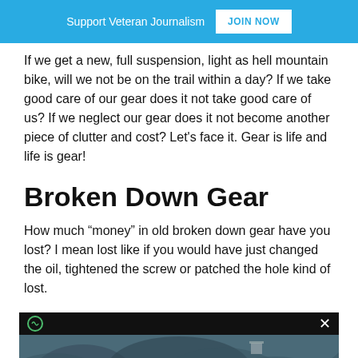Support Veteran Journalism  JOIN NOW
If we get a new, full suspension, light as hell mountain bike, will we not be on the trail within a day? If we take good care of our gear does it not take good care of us? If we neglect our gear does it not become another piece of clutter and cost? Let's face it. Gear is life and life is gear!
Broken Down Gear
How much “money” in old broken down gear have you lost? I mean lost like if you would have just changed the oil, tightened the screw or patched the hole kind of lost.
[Figure (screenshot): An advertisement overlay showing an aerial/satellite image with a black top bar containing a circular green icon on the left and a white X on the right, and an inner white/gray box at the bottom center with a small gray X button to its right.]